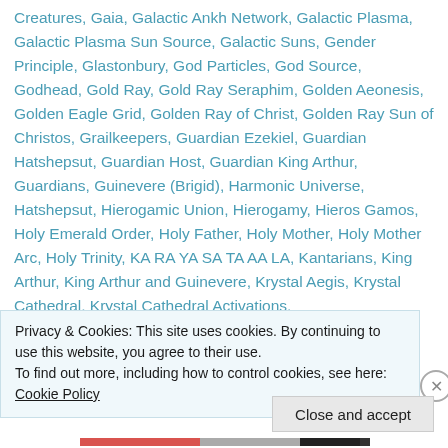Creatures, Gaia, Galactic Ankh Network, Galactic Plasma, Galactic Plasma Sun Source, Galactic Suns, Gender Principle, Glastonbury, God Particles, God Source, Godhead, Gold Ray, Gold Ray Seraphim, Golden Aeonesis, Golden Eagle Grid, Golden Ray of Christ, Golden Ray Sun of Christos, Grailkeepers, Guardian Ezekiel, Guardian Hatshepsut, Guardian Host, Guardian King Arthur, Guardians, Guinevere (Brigid), Harmonic Universe, Hatshepsut, Hierogamic Union, Hierogamy, Hieros Gamos, Holy Emerald Order, Holy Father, Holy Mother, Holy Mother Arc, Holy Trinity, KA RA YA SA TA AA LA, Kantarians, King Arthur, King Arthur and Guinevere, Krystal Aegis, Krystal Cathedral, Krystal Cathedral Activations,
Privacy & Cookies: This site uses cookies. By continuing to use this website, you agree to their use. To find out more, including how to control cookies, see here: Cookie Policy
Close and accept